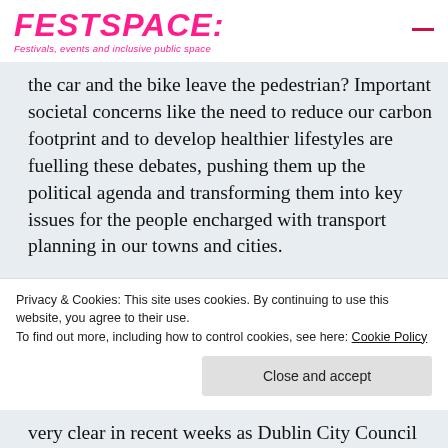FESTSPACE: Festivals, events and inclusive public space
the car and the bike leave the pedestrian? Important societal concerns like the need to reduce our carbon footprint and to develop healthier lifestyles are fuelling these debates, pushing them up the political agenda and transforming them into key issues for the people encharged with transport planning in our towns and cities.

While the debate has tended to be dominated by a 'car versus cyclist' dynamic, recently the topic of
Privacy & Cookies: This site uses cookies. By continuing to use this website, you agree to their use.
To find out more, including how to control cookies, see here: Cookie Policy
Close and accept
very clear in recent weeks as Dublin City Council